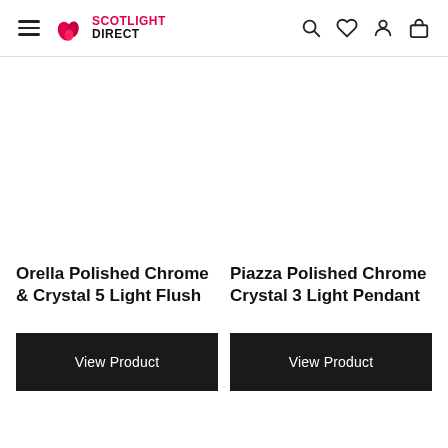Scotlight Direct — navigation header with hamburger menu, logo, search, wishlist, account, and bag icons
Orella Polished Chrome & Crystal 5 Light Flush
Piazza Polished Chrome Crystal 3 Light Pendant
View Product
View Product